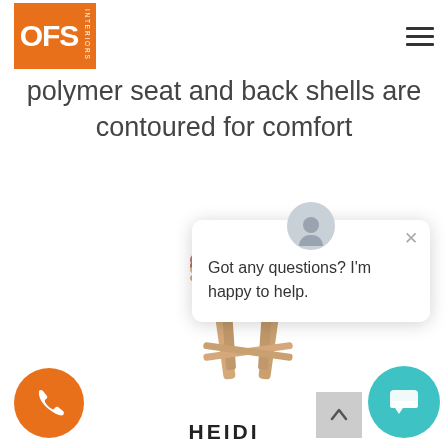[Figure (logo): OFS Interiors logo - orange square with white OFS text and INTERIORS written vertically]
polymer seat and back shells are contoured for comfort
[Figure (photo): A wooden stool with an upholstered reddish-brown seat on four legs, shown on white background]
[Figure (screenshot): Chat popup with avatar icon, close X button, and text: Got any questions? I'm happy to help.]
[Figure (other): Orange circular phone call button in bottom left corner]
[Figure (other): Teal circular chat button in bottom right corner]
[Figure (other): Gray scroll-to-top button with up arrow]
HEIDI